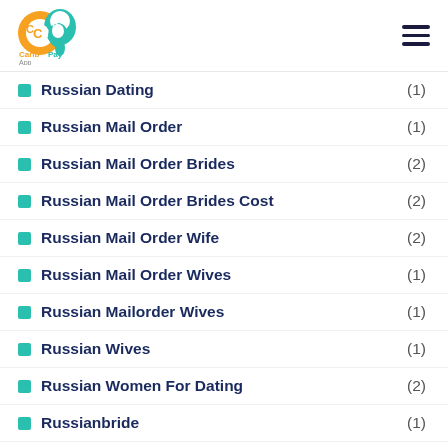[Figure (logo): Carib Pay App logo — orange and teal circular CP icon with text 'Carib Pay App']
Russian Dating (1)
Russian Mail Order (1)
Russian Mail Order Brides (2)
Russian Mail Order Brides Cost (2)
Russian Mail Order Wife (2)
Russian Mail Order Wives (1)
Russian Mailorder Wives (1)
Russian Wives (1)
Russian Women For Dating (2)
Russianbride (1)
Russianbrides (1)